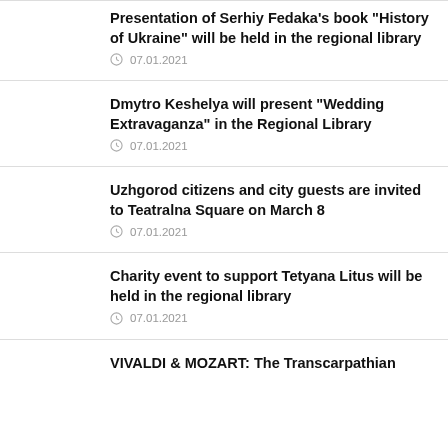Presentation of Serhiy Fedaka’s book “History of Ukraine” will be held in the regional library
07.01.2021
Dmytro Keshelya will present “Wedding Extravaganza” in the Regional Library
07.01.2021
Uzhgorod citizens and city guests are invited to Teatralna Square on March 8
07.01.2021
Charity event to support Tetyana Litus will be held in the regional library
07.01.2021
VIVALDI & MOZART: The Transcarpathian